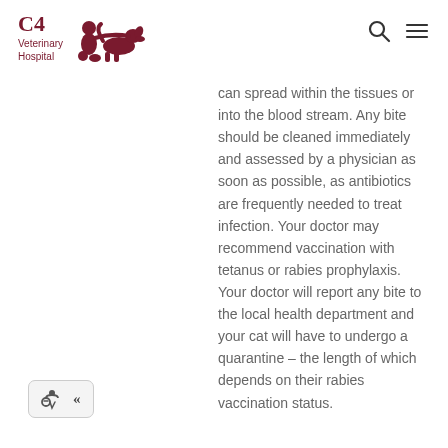C4 Veterinary Hospital
can spread within the tissues or into the blood stream. Any bite should be cleaned immediately and assessed by a physician as soon as possible, as antibiotics are frequently needed to treat infection. Your doctor may recommend vaccination with tetanus or rabies prophylaxis. Your doctor will report any bite to the local health department and your cat will have to undergo a quarantine – the length of which depends on their rabies vaccination status.